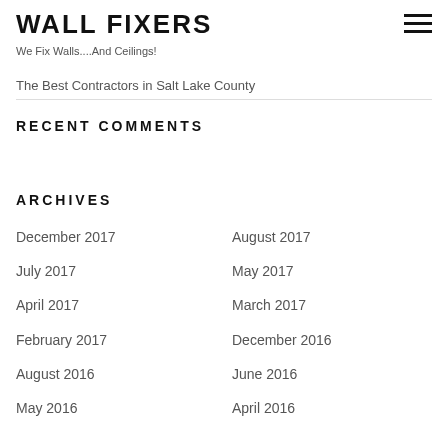WALL FIXERS
We Fix Walls....And Ceilings!
The Best Contractors in Salt Lake County
RECENT COMMENTS
ARCHIVES
December 2017
August 2017
July 2017
May 2017
April 2017
March 2017
February 2017
December 2016
August 2016
June 2016
May 2016
April 2016